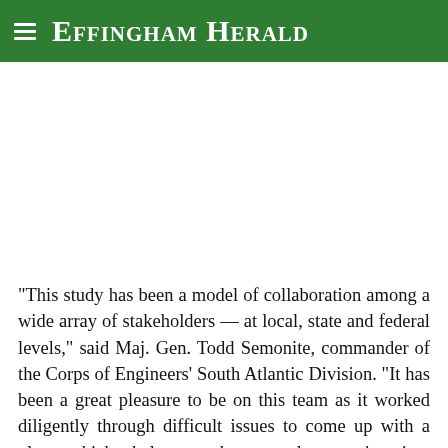Effingham Herald
"This study has been a model of collaboration among a wide array of stakeholders — at local, state and federal levels," said Maj. Gen. Todd Semonite, commander of the Corps of Engineers' South Atlantic Division. "It has been a great pleasure to be on this team as it worked diligently through difficult issues to come up with a plan which balances the complex engineering, economic,